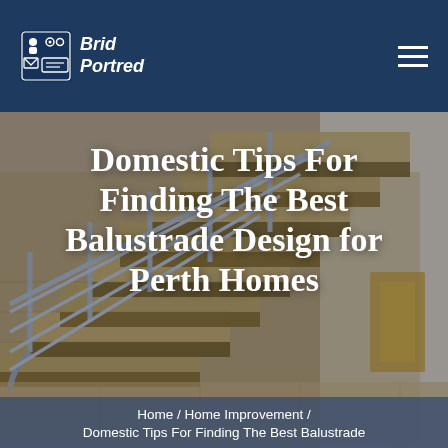Brid Portred
[Figure (photo): Interior staircase with stainless steel balustrade and horizontal rails, with wooden-tiled steps and warm interior background]
Domestic Tips For Finding The Best Balustrade Design for Perth Homes
Home / Home Improvement / Domestic Tips For Finding The Best Balustrade